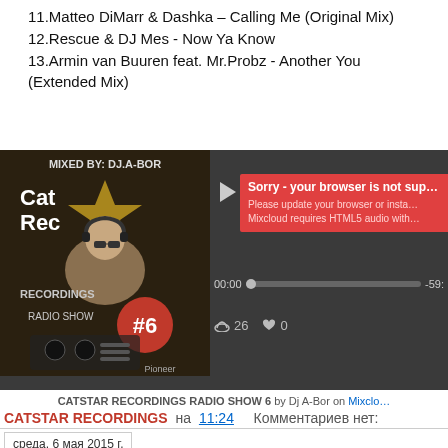11.Matteo DiMarr & Dashka – Calling Me (Original Mix)
12.Rescue & DJ Mes - Now Ya Know
13.Armin van Buuren feat. Mr.Probz - Another You (Extended Mix)
[Figure (screenshot): Mixcloud embedded audio player for CATSTAR RECORDINGS RADIO SHOW 6 by Dj A-Bor. Shows album cover on the left with a DJ photo and #6 badge, player controls on the right with a red 'Sorry - your browser is not supported' overlay. Time shows 00:00 / -59:xx. Stats show 26 listens and 0 likes.]
CATSTAR RECORDINGS RADIO SHOW 6 by Dj A-Bor on Mixcloud
CATSTAR RECORDINGS на 11:24    Комментариев нет:
среда, 6 мая 2015 г.
CATSTAR RECORDINGS RADIO SHOW 5